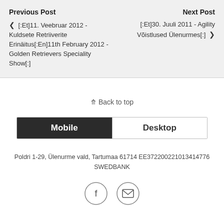Previous Post
‹ [:Et]11. Veebruar 2012 - Kuldsete Retriiverite Erinäitus[:En]11th February 2012 - Golden Retrievers Speciality Show[:]
Next Post
[:Et]30. Juuli 2011 - Agility Võistlused Ülenurmes[:] ›
⇈ Back to top
Mobile | Desktop
Poldri 1-29, Ülenurme vald, Tartumaa 61714 EE372200221013414776 SWEDBANK